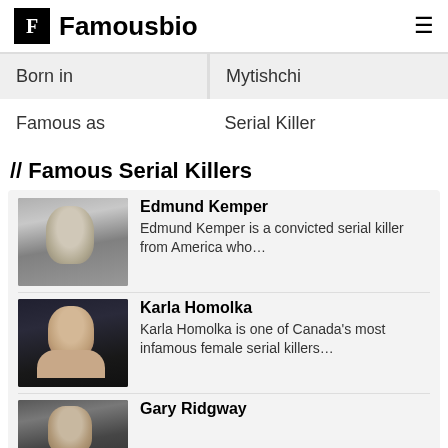F Famousbio
| Born in | Mytishchi |
| Famous as | Serial Killer |
// Famous Serial Killers
[Figure (photo): Black and white photo of Edmund Kemper]
Edmund Kemper
Edmund Kemper is a convicted serial killer from America who…
[Figure (photo): Photo of Karla Homolka]
Karla Homolka
Karla Homolka is one of Canada's most infamous female serial killers…
[Figure (photo): Photo of Gary Ridgway]
Gary Ridgway